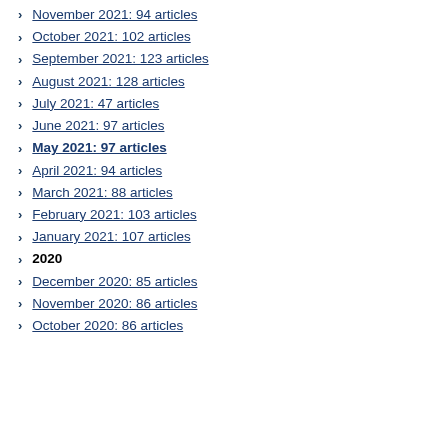November 2021: 94 articles
October 2021: 102 articles
September 2021: 123 articles
August 2021: 128 articles
July 2021: 47 articles
June 2021: 97 articles
May 2021: 97 articles
April 2021: 94 articles
March 2021: 88 articles
February 2021: 103 articles
January 2021: 107 articles
2020
December 2020: 85 articles
November 2020: 86 articles
October 2020: 86 articles